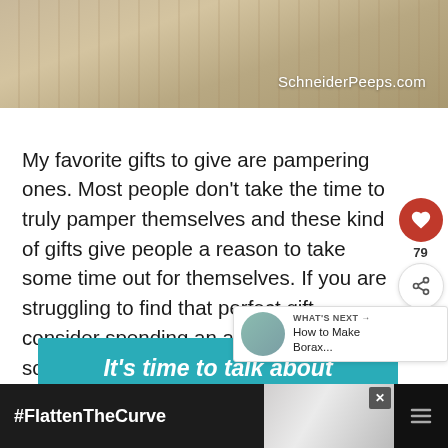[Figure (photo): Top portion of a photo showing a wooden surface with a bath sponge or loofah, watermarked with SchneiderPeeps.com]
My favorite gifts to give are pampering ones. Most people don't take the time to truly pamper themselves and these kind of gifts give people a reason to take some time out for themselves. If you are struggling to find that perfect gift, consider spending an afternoon making some his and her spa gift baskets.
[Figure (infographic): Teal advertisement banner reading: It's time to talk about Alzheimer's]
[Figure (screenshot): What's Next widget showing thumbnail and text: How to Make Borax...]
[Figure (infographic): Bottom dark bar advertisement with #FlattenTheCurve text and image of hands washing with soap]